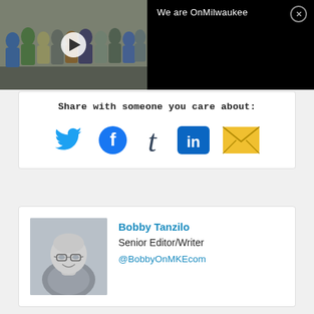[Figure (photo): Video thumbnail showing a group of people (the OnMilwaukee team) posing together in an office/hallway, with a white play button overlay. Right side shows black panel with title 'We are OnMilwaukee' and a close (X) button.]
Share with someone you care about:
[Figure (infographic): Row of five social media share icons: Twitter (blue bird), Facebook (blue 'f' circle), Tumblr (dark blue 't'), LinkedIn (blue 'in' square), Email (yellow envelope).]
Bobby Tanzilo
Senior Editor/Writer
@BobbyOnMKEcom
[Figure (photo): Black and white headshot photo of Bobby Tanzilo, a bald man with glasses smiling, cropped to roughly square.]